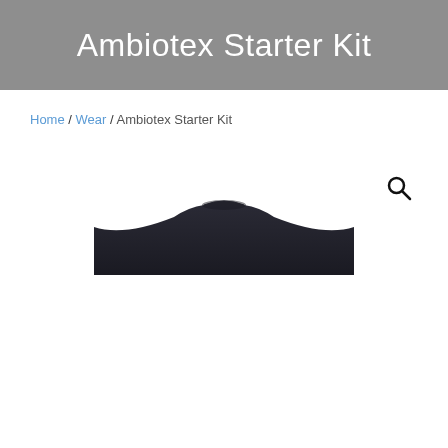Ambiotex Starter Kit
Home / Wear / Ambiotex Starter Kit
[Figure (photo): Partial top view of a dark navy/black shirt showing the neckline and shoulders, cropped at the collar area. A search (magnifying glass) icon appears in the upper right of the product image area.]